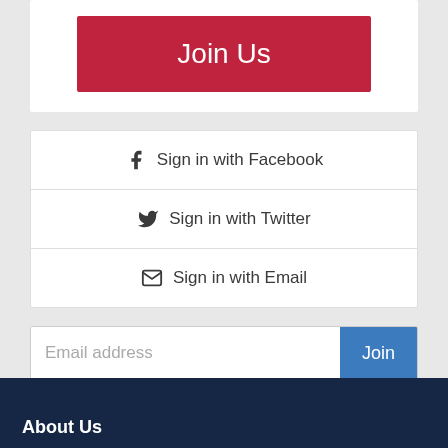[Figure (screenshot): Red 'Join Us' button on white card background]
Sign in with Facebook
Sign in with Twitter
Sign in with Email
[Figure (screenshot): Email address input field with blue 'Join' button]
About Us